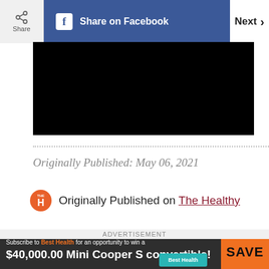Share | Share on Facebook | Next >
[Figure (photo): Black image/video thumbnail]
Originally Published: May 06, 2021
Originally Published on The Healthy
[Figure (infographic): Advertisement banner: Subscribe to Best Health for an opportunity to win a $40,000.00 Mini Cooper S convertible! SAVE | Best Health logo]
ADVERTISEMENT
[Figure (photo): Advertisement for The Daily Jigsaw puzzle game with puzzle pieces]